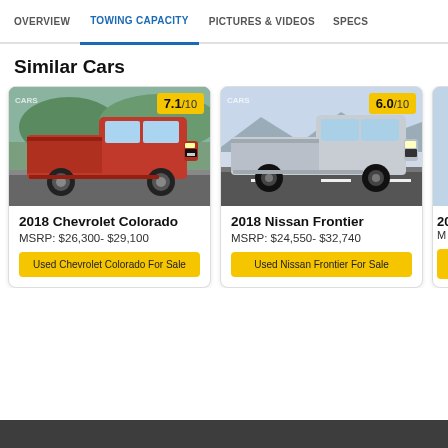OVERVIEW | TOWING CAPACITY | PICTURES & VIDEOS | SPECS
Similar Cars
[Figure (photo): 2018 Chevrolet Colorado red pickup truck, front view, score badge 7.1/10]
2018 Chevrolet Colorado
MSRP: $26,300- $29,100
Used Chevrolet Colorado For Sale
[Figure (photo): 2018 Nissan Frontier silver pickup truck, side view, score badge 6.0/10]
2018 Nissan Frontier
MSRP: $24,550- $32,740
Used Nissan Frontier For Sale